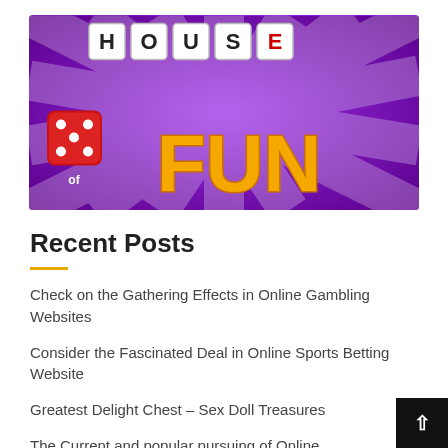[Figure (illustration): House of Fun casino game logo banner on purple background with dice and decorative lettering]
Recent Posts
Check on the Gathering Effects in Online Gambling Websites
Consider the Fascinated Deal in Online Sports Betting Website
Greatest Delight Chest – Sex Doll Treasures
The Current and popular pursuing of Online